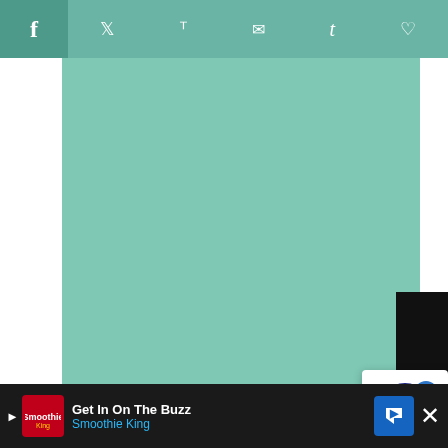Social share bar with icons: f (Facebook), Twitter, Pinterest, Email, Tumblr, Heart
[Figure (photo): Large teal/mint colored rectangle representing a food photo placeholder area]
[Figure (other): Accessibility widget icon - circular blue icon with person symbol and blue arrow overlay, labeled 'erms']
[Figure (other): Teal circular heart/save button with count 75 below it, and a share icon button]
This main-dish recipe is quick and easy! You can serve this Garlic Shrimp with Roasted Pepper sauce over polenta (like in
[Figure (other): Advertisement banner: Get In On The Buzz - Smoothie King, with play button, logo, navigation arrow icon, and close X button]